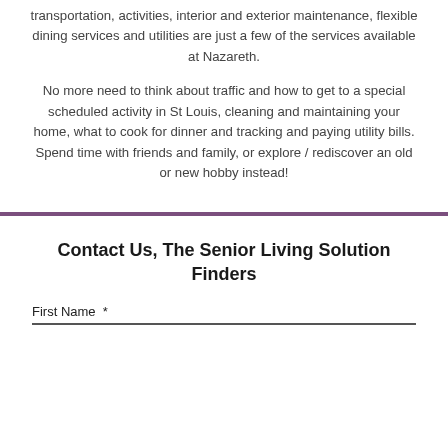transportation, activities, interior and exterior maintenance, flexible dining services and utilities are just a few of the services available at Nazareth.
No more need to think about traffic and how to get to a special scheduled activity in St Louis, cleaning and maintaining your home, what to cook for dinner and tracking and paying utility bills. Spend time with friends and family, or explore / rediscover an old or new hobby instead!
Contact Us, The Senior Living Solution Finders
First Name *